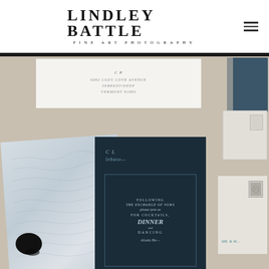[Figure (logo): Lindley Battle Fine Art Photography logo with hamburger menu icon]
[Figure (photo): Flat lay of elegant dark navy and white wedding stationery suite including envelopes, invitation cards with calligraphy and wax seal on linen background]